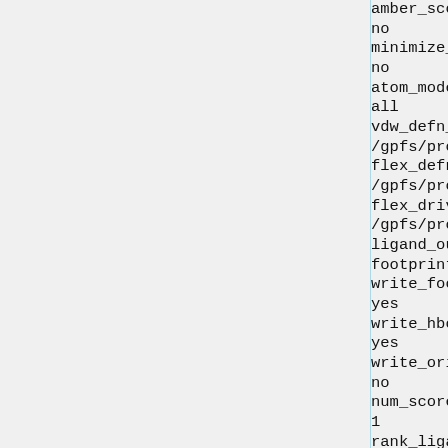amber_score_secondary
no
minimize_ligand
no
atom_model
all
vdw_defn_file
/gpfs/projects/AMS536/zzz.prog
flex_defn_file
/gpfs/projects/AMS536/zzz.prog
flex_drive_file
/gpfs/projects/AMS536/zzz.prog
ligand_outfile_prefix
footprint.out
write_footprints
yes
write_hbonds
yes
write_orientations
no
num_scored_conformers
1
rank_ligands
no